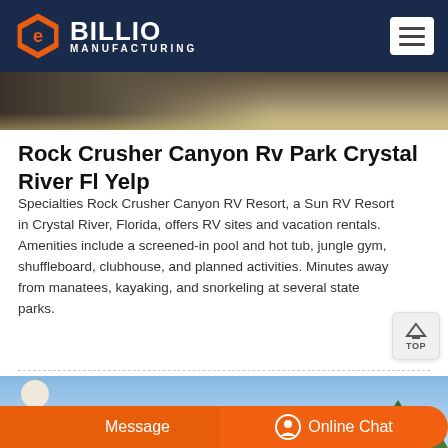BILLIO MANUFACTURING
[Figure (photo): Top partial image of a rock crusher or conveyor belt industrial equipment with sandy ground]
Rock Crusher Canyon Rv Park Crystal River Fl Yelp
Specialties Rock Crusher Canyon RV Resort, a Sun RV Resort in Crystal River, Florida, offers RV sites and vacation rentals. Amenities include a screened-in pool and hot tub, jungle gym, shuffleboard, clubhouse, and planned activities. Minutes away from manatees, kayaking, and snorkeling at several state parks.
[Figure (photo): Bottom partial image showing blue sky and trees at an RV park]
Message   Online Chat